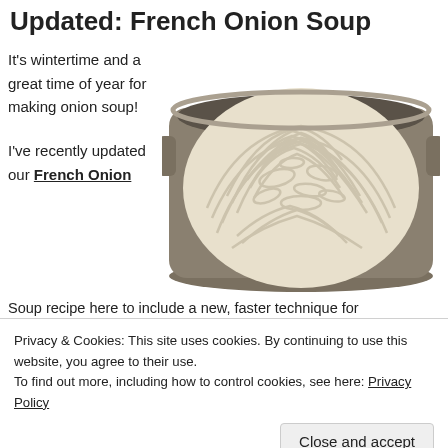Updated: French Onion Soup
It's wintertime and a great time of year for making onion soup!
[Figure (photo): Overhead photo of a large pot filled with raw sliced white onions, showing the rings piled high.]
I've recently updated our French Onion Soup recipe here to include a new, faster technique for
Privacy & Cookies: This site uses cookies. By continuing to use this website, you agree to their use.
To find out more, including how to control cookies, see here: Privacy Policy